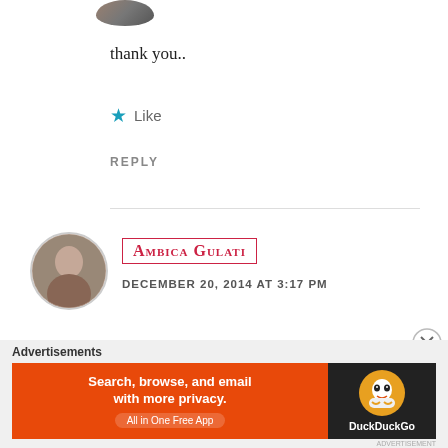[Figure (photo): Partial circular avatar image at top, cropped]
thank you..
★ Like
REPLY
[Figure (photo): Circular profile photo of Ambica Gulati]
AMBICA GULATI
DECEMBER 20, 2014 AT 3:17 PM
Thank you for the encouraging comments
Advertisements
[Figure (screenshot): DuckDuckGo advertisement banner: Search, browse, and email with more privacy. All in One Free App]